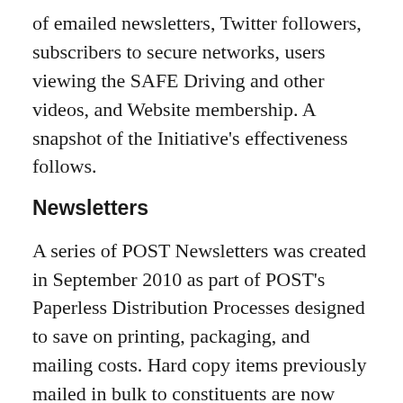of emailed newsletters, Twitter followers, subscribers to secure networks, users viewing the SAFE Driving and other videos, and Website membership. A snapshot of the Initiative's effectiveness follows.
Newsletters
A series of POST Newsletters was created in September 2010 as part of POST's Paperless Distribution Processes designed to save on printing, packaging, and mailing costs. Hard copy items previously mailed in bulk to constituents are now delivered electronically via modern Web-based electronic distribution subscriptions, resulting in costs savings of over $2,000 per month. An opt-in email subscription service to the